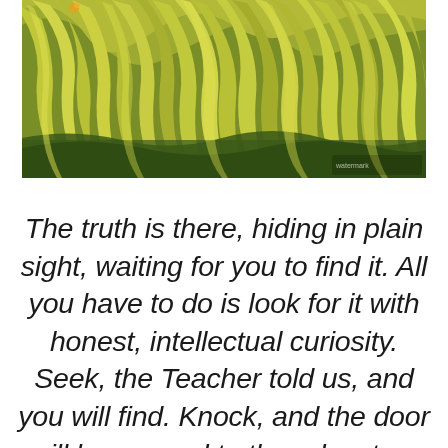[Figure (photo): Close-up photograph of ornamental grass with long, flowing yellow-green and olive-toned blades cascading in overlapping layers, with some darker green foliage visible at the base.]
The truth is there, hiding in plain sight, waiting for you to find it. All you have to do is look for it with honest, intellectual curiosity. Seek, the Teacher told us, and you will find. Knock, and the door will be opened to the adventure of a lifetime